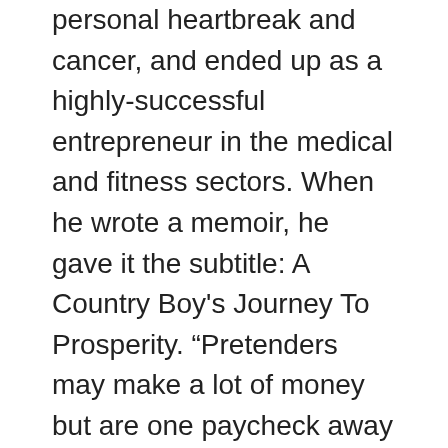personal heartbreak and cancer, and ended up as a highly-successful entrepreneur in the medical and fitness sectors. When he wrote a memoir, he gave it the subtitle: A Country Boy's Journey To Prosperity. “Pretenders may make a lot of money but are one paycheck away from bankruptcy. They can be obnoxious and are not nice to people who aren’t on their income level.
“For contenders, money is no longer an issue. Humility, learning from mistakes, and resilience built from bouncing back all lead to success over the long haul. Contenders recognize where they come from and never forget. And as a result of those experiences, good and bad, they know where they’re going and have a better idea of